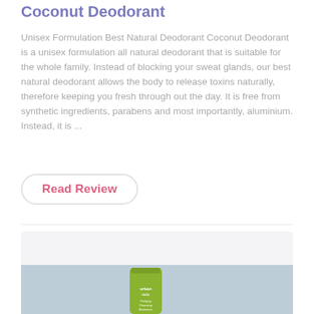Coconut Deodorant
Unisex Formulation Best Natural Deodorant Coconut Deodorant is a unisex formulation all natural deodorant that is suitable for the whole family. Instead of blocking your sweat glands, our best natural deodorant allows the body to release toxins naturally, therefore keeping you fresh through out the day. It is free from synthetic ingredients, parabens and most importantly, aluminium. Instead, it is ...
Read Review
[Figure (photo): Product photo of an Urban Veda green tube moisturizer/cream on a light blue-grey background]